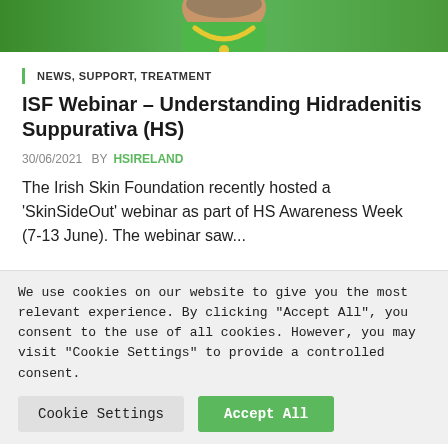[Figure (photo): Partial photo of a person wearing a green outfit and yellow necklace, cropped to show only the upper portion of the torso and partially the face/hair area.]
NEWS, SUPPORT, TREATMENT
ISF Webinar – Understanding Hidradenitis Suppurativa (HS)
30/06/2021  BY HSIRELAND
The Irish Skin Foundation recently hosted a 'SkinSideOut' webinar as part of HS Awareness Week (7-13 June). The webinar saw...
We use cookies on our website to give you the most relevant experience. By clicking "Accept All", you consent to the use of all cookies. However, you may visit "Cookie Settings" to provide a controlled consent.
Cookie Settings   Accept All